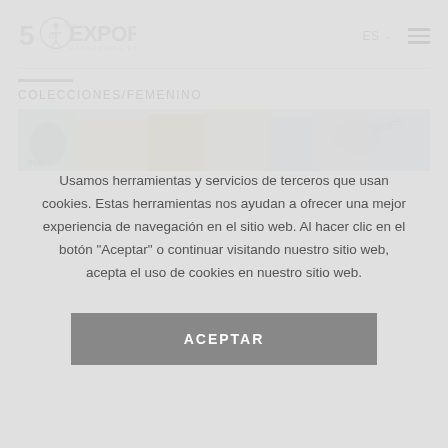EXPOR 50 YEARS — MANNEQUINS EXPERTS | ES | Menu
COLECCIONES/FEMENINO
[Figure (photo): Partial image of mannequins/fashion items in a banner]
Usamos herramientas y servicios de terceros que usan cookies. Estas herramientas nos ayudan a ofrecer una mejor experiencia de navegación en el sitio web. Al hacer clic en el botón "Aceptar" o continuar visitando nuestro sitio web, acepta el uso de cookies en nuestro sitio web.
ACEPTAR